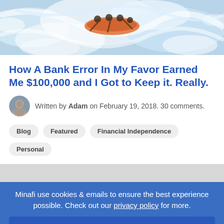[Figure (photo): Action photo of people white-water rafting through rapids, viewed from above]
How A Bank Error In My Favor Earned Me $100,000 and I Got to Keep it. Really.
Written by Adam on February 19, 2018. 30 comments.
Blog
Featured
Financial Independence
Personal
Minafi use cookies & emails to ensure the best experience possible. Check out our privacy policy for more.
I agree to Minafi's Privacy Policy